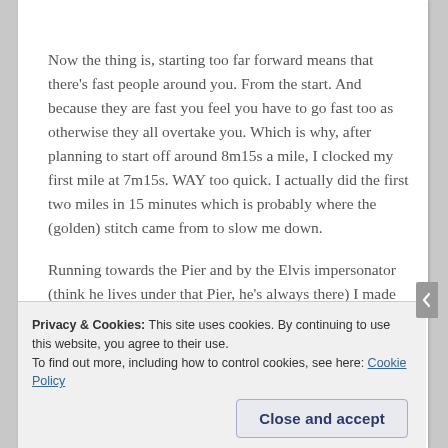Now the thing is, starting too far forward means that there's fast people around you. From the start. And because they are fast you feel you have to go fast too as otherwise they all overtake you. Which is why, after planning to start off around 8m15s a mile, I clocked my first mile at 7m15s. WAY too quick. I actually did the first two miles in 15 minutes which is probably where the (golden) stitch came from to slow me down.
Running towards the Pier and by the Elvis impersonator (think he lives under that Pier, he's always there) I made myself slow down because I knew I couldn't keep that pace for long without messing up the second half of the
Privacy & Cookies: This site uses cookies. By continuing to use this website, you agree to their use.
To find out more, including how to control cookies, see here: Cookie Policy
Close and accept